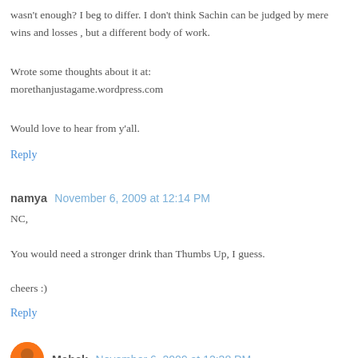wasn't enough? I beg to differ. I don't think Sachin can be judged by mere wins and losses , but a different body of work.
Wrote some thoughts about it at:
morethanjustagame.wordpress.com
Would love to hear from y'all.
Reply
namya  November 6, 2009 at 12:14 PM
NC,
You would need a stronger drink than Thumbs Up, I guess.
cheers :)
Reply
Mahek  November 6, 2009 at 12:38 PM